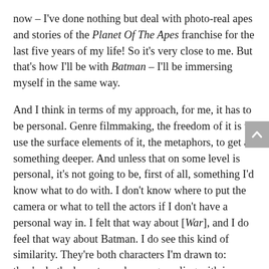now – I've done nothing but deal with photo-real apes and stories of the Planet Of The Apes franchise for the last five years of my life! So it's very close to me. But that's how I'll be with Batman – I'll be immersing myself in the same way.
And I think in terms of my approach, for me, it has to be personal. Genre filmmaking, the freedom of it is to use the surface elements of it, the metaphors, to get at something deeper. And unless that on some level is personal, it's not going to be, first of all, something I'd know what to do with. I don't know where to put the camera or what to tell the actors if I don't have a personal way in. I felt that way about [War], and I do feel that way about Batman. I do see this kind of similarity. They're both characters I'm drawn to: they're both characters who are grappling with inner turmoil and are struggling to find some way to do the right thing in an imperfect world.